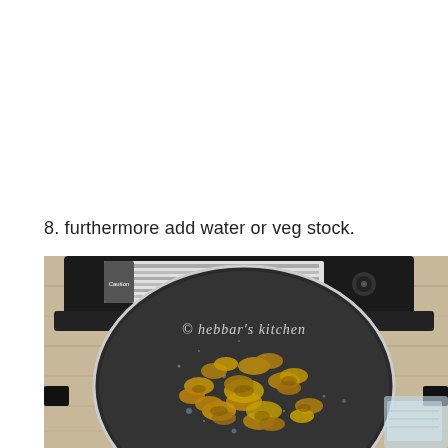8. furthermore add water or veg stock.
[Figure (photo): Top-down view of a black non-stick frying pan on a portable gas stove sitting on a wooden surface. The pan contains sautéed mushrooms. A glass measuring cup is visible at the bottom right. The image has a watermark reading '© hebbar's kitchen'.]